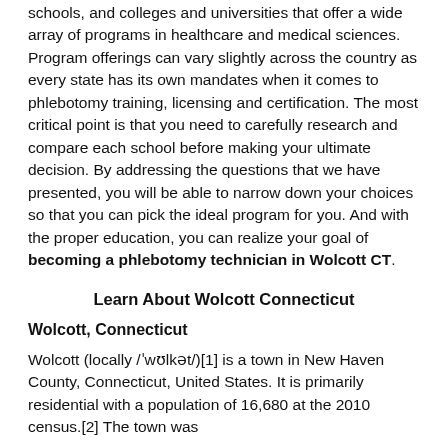schools, and colleges and universities that offer a wide array of programs in healthcare and medical sciences. Program offerings can vary slightly across the country as every state has its own mandates when it comes to phlebotomy training, licensing and certification. The most critical point is that you need to carefully research and compare each school before making your ultimate decision. By addressing the questions that we have presented, you will be able to narrow down your choices so that you can pick the ideal program for you. And with the proper education, you can realize your goal of becoming a phlebotomy technician in Wolcott CT.
Learn About Wolcott Connecticut
Wolcott, Connecticut
Wolcott (locally /ˈwʊlkət/)[1] is a town in New Haven County, Connecticut, United States. It is primarily residential with a population of 16,680 at the 2010 census.[2] The town was